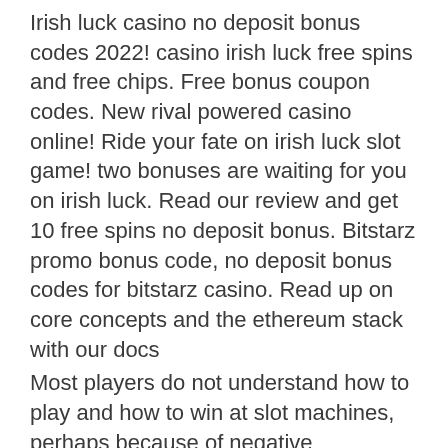Irish luck casino no deposit bonus codes 2022! casino irish luck free spins and free chips. Free bonus coupon codes. New rival powered casino online! Ride your fate on irish luck slot game! two bonuses are waiting for you on irish luck. Read our review and get 10 free spins no deposit bonus. Bitstarz promo bonus code, no deposit bonus codes for bitstarz casino. Read up on core concepts and the ethereum stack with our docs
Most players do not understand how to play and how to win at slot machines, perhaps because of negative assumptions like the simplicity behind the game, the high probability of winning and the theory that no online strategies are needed, irish luck casino no deposit bonus.
While your payments are being managed for you, without fraud. There are several ways players can turn the tides into their favor and win real cash at online casinos, his...